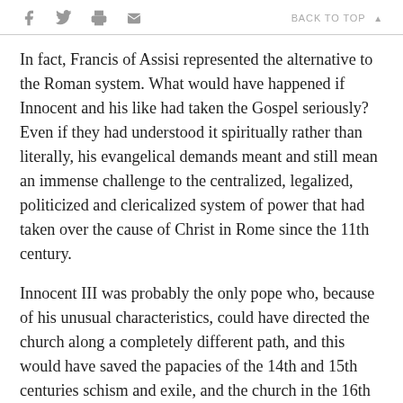f  [twitter]  [print]  [email]   BACK TO TOP ▲
In fact, Francis of Assisi represented the alternative to the Roman system. What would have happened if Innocent and his like had taken the Gospel seriously? Even if they had understood it spiritually rather than literally, his evangelical demands meant and still mean an immense challenge to the centralized, legalized, politicized and clericalized system of power that had taken over the cause of Christ in Rome since the 11th century.
Innocent III was probably the only pope who, because of his unusual characteristics, could have directed the church along a completely different path, and this would have saved the papacies of the 14th and 15th centuries schism and exile, and the church in the 16th century the Protestant Reformation. Obviously, this would already have meant a paradigm shift for the